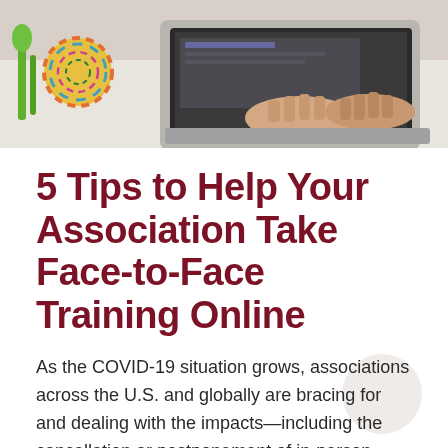[Figure (photo): Person typing on a laptop at a desk with a colorful yarn ball and green plant visible nearby, viewed from above]
5 Tips to Help Your Association Take Face-to-Face Training Online
As the COVID-19 situation grows, associations across the U.S. and globally are bracing for and dealing with the impacts—including the cancellation or postponement of in-person gatherings such as annual conferences. Unfortunately, these are bread-and-butter